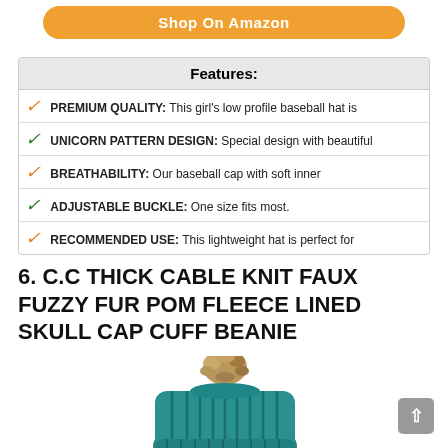Shop On Amazon
| Features: |
| --- |
| PREMIUM QUALITY: This girl's low profile baseball hat is |
| UNICORN PATTERN DESIGN: Special design with beautiful |
| BREATHABILITY: Our baseball cap with soft inner |
| ADJUSTABLE BUCKLE: One size fits most. |
| RECOMMENDED USE: This lightweight hat is perfect for |
6. C.C THICK CABLE KNIT FAUX FUZZY FUR POM FLEECE LINED SKULL CAP CUFF BEANIE
[Figure (photo): Teal cable knit beanie hat with faux fur pom pom on top]